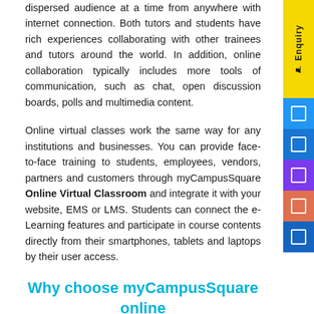dispersed audience at a time from anywhere with internet connection. Both tutors and students have rich experiences collaborating with other trainees and tutors around the world. In addition, online collaboration typically includes more tools of communication, such as chat, open discussion boards, polls and multimedia content.
Online virtual classes work the same way for any institutions and businesses. You can provide face-to-face training to students, employees, vendors, partners and customers through myCampusSquare Online Virtual Classroom and integrate it with your website, EMS or LMS. Students can connect the e-Learning features and participate in course contents directly from their smartphones, tablets and laptops by their user access.
Why choose myCampusSquare online Virtual classroom